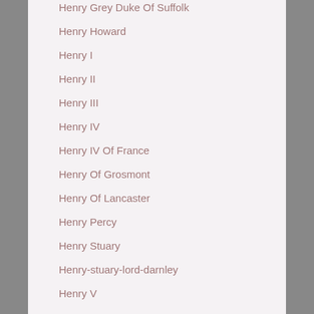Henry Grey Duke Of Suffolk
Henry Howard
Henry I
Henry II
Henry III
Henry IV
Henry IV Of France
Henry Of Grosmont
Henry Of Lancaster
Henry Percy
Henry Stuary
Henry-stuary-lord-darnley
Henry V
Henry VI
Henry VII
Henry VIII
Herbs
Herefordshire
Heritage Crimes